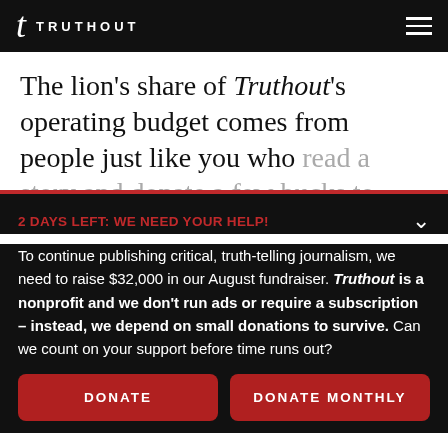TRUTHOUT
The lion's share of Truthout's operating budget comes from people just like you who read a story and donate a few bucks to help
2 DAYS LEFT: WE NEED YOUR HELP!
To continue publishing critical, truth-telling journalism, we need to raise $32,000 in our August fundraiser. Truthout is a nonprofit and we don't run ads or require a subscription – instead, we depend on small donations to survive. Can we count on your support before time runs out?
DONATE
DONATE MONTHLY